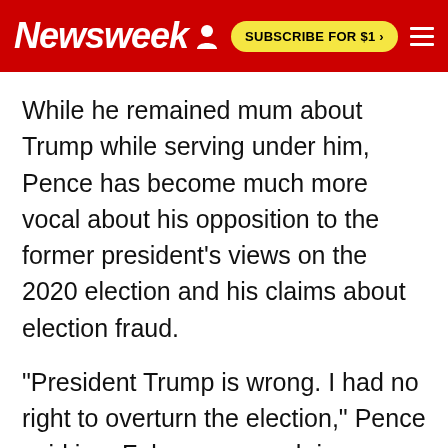Newsweek | SUBSCRIBE FOR $1 >
While he remained mum about Trump while serving under him, Pence has become much more vocal about his opposition to the former president's views on the 2020 election and his claims about election fraud.
"President Trump is wrong. I had no right to overturn the election," Pence said in a February speech in Florida. "The presidency belongs to the American people, and the American people alone. Frankly there is almost